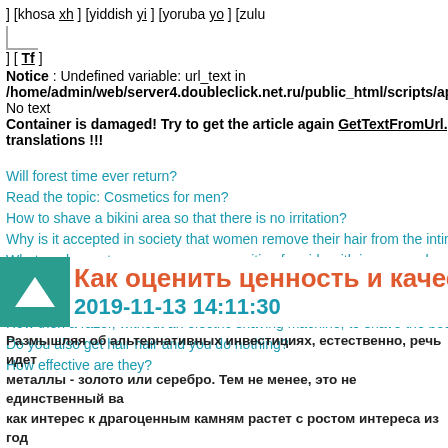] [khosa xh ] [yiddish yi ] [yoruba yo ] [zulu
] [ Tf ]
Notice : Undefined variable: url_text in
/home/admin/web/server4.doubleclick.net.ru/public_html/scripts/api/meth
No text
Container is damaged! Try to get the article again GetTextFromUrl.php , b translations !!!
Will forest time ever return?
Read the topic: Cosmetics for men?
How to shave a bikini area so that there is no irritation?
Why is it accepted in society that women remove their hair from the intimate zo
What unpleasant consequences are waiting for girls with improper shaving?
Will forest time ever return?
Read the topic: Cosmetics for men?
How then a razor, without an electric shaving machine, to shave the best and s
Do you also get hair hair and you do nothing?
How effective are they?
Как оценить ценность и качество бриллиан
2019-11-13 14:11:30
Размышляя об альтернативных инвестициях, естественно, речь идет металлы - золото или серебро. Тем не менее, это не единственный ва как интерес к драгоценным камням растет с ростом интереса из год